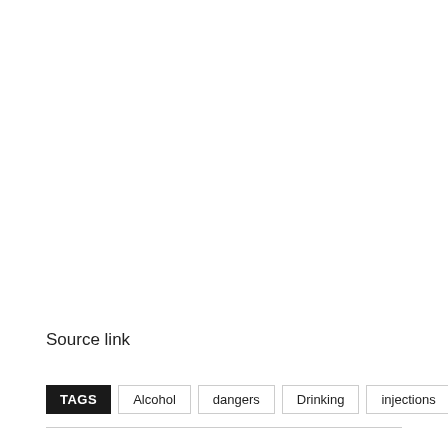Source link
TAGS  Alcohol  dangers  Drinking  injections  Lip